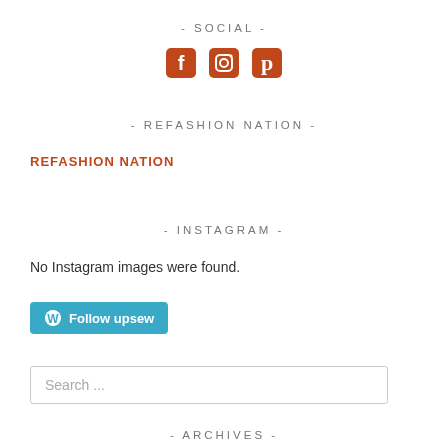- SOCIAL -
[Figure (illustration): Three social media icons (Facebook, Instagram, Pinterest) in orange/burnt-red color]
- REFASHION NATION -
REFASHION NATION
- INSTAGRAM -
No Instagram images were found.
[Figure (other): WordPress Follow button with text 'Follow upsew' on a teal/cyan background]
Search ...
- ARCHIVES -